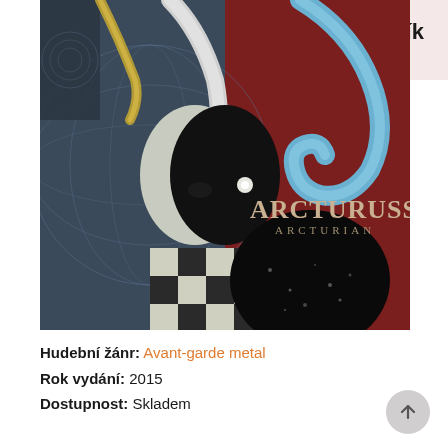[Figure (illustration): Album cover for Arcturuss – Arcturian. A surreal fantasy illustration showing a creature half-white and half-black with large curved horns, a checkered pattern on its lower body, set against a dark blue globe on the left and a deep red background on the right with blue swirling shapes. The text 'ARCTURUSS' and 'ARCTURIAN' appear on the right side of the cover.]
[Figure (screenshot): Shopping cart UI element (Košík) with a cart icon in a round grey circle and text 'Košík' and '0 Kč' on a pink/rose background.]
Hudební žánr: Avant-garde metal
Rok vydání: 2015
Dostupnost: Skladem